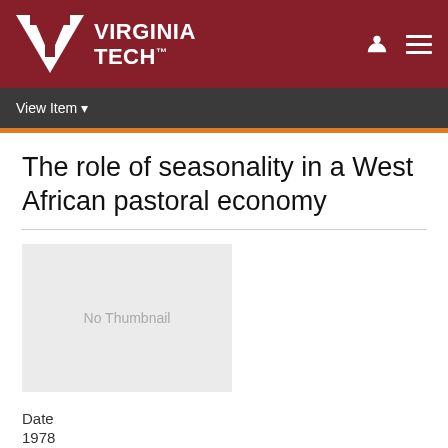Virginia Tech
The role of seasonality in a West African pastoral economy
[Figure (other): No Thumbnail placeholder image]
Date
1978
Author